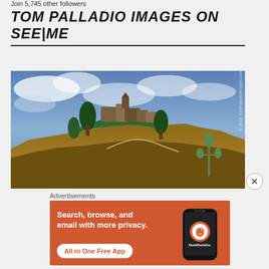Join 5,745 other followers
TOM PALLADIO IMAGES ON SEE|ME
[Figure (photo): Low-angle photograph of an ancient hilltop stone village/castle perched on rocky cliffs, with trees and dramatic blue cloudy sky. Watermark text on right side reads '© 2016 TomPalladioImages.com']
Advertisements
[Figure (screenshot): DuckDuckGo advertisement with orange background. Left text: 'Search, browse, and email with more privacy. All in One Free App'. Right side shows a smartphone with DuckDuckGo logo and 'DuckDuckGo.' text.]